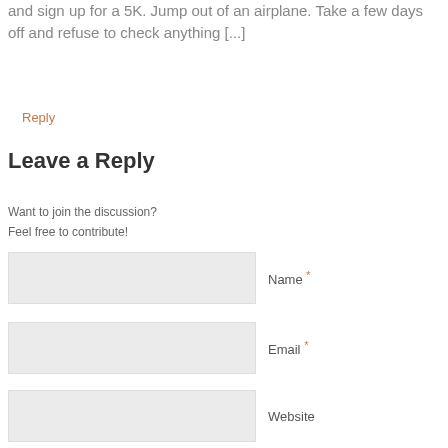and sign up for a 5K. Jump out of an airplane. Take a few days off and refuse to check anything [...]
Reply
Leave a Reply
Want to join the discussion?
Feel free to contribute!
Name *
Email *
Website